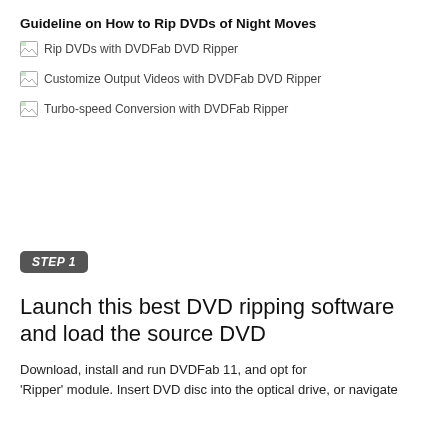Guideline on How to Rip DVDs of Night Moves
[Figure (illustration): Broken image placeholder with alt text: Rip DVDs with DVDFab DVD Ripper]
[Figure (illustration): Broken image placeholder with alt text: Customize Output Videos with DVDFab DVD Ripper]
[Figure (illustration): Broken image placeholder with alt text: Turbo-speed Conversion with DVDFab Ripper]
STEP 1
Launch this best DVD ripping software and load the source DVD
Download, install and run DVDFab 11, and opt for 'Ripper' module. Insert DVD disc into the optical drive, or navigate